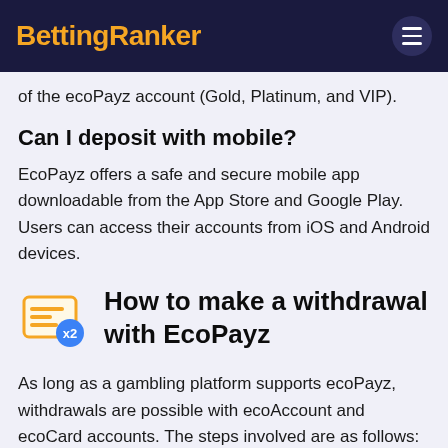BettingRanker
of the ecoPayz account (Gold, Platinum, and VIP).
Can I deposit with mobile?
EcoPayz offers a safe and secure mobile app downloadable from the App Store and Google Play. Users can access their accounts from iOS and Android devices.
How to make a withdrawal with EcoPayz
As long as a gambling platform supports ecoPayz, withdrawals are possible with ecoAccount and ecoCard accounts. The steps involved are as follows:
The steps involved are as follows: